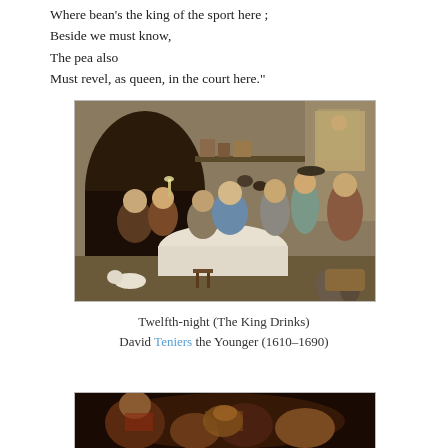Where bean's the king of the sport here ;
Beside we must know,
The pea also
Must revel, as queen, in the court here."
[Figure (illustration): A Flemish Baroque painting showing a lively indoor tavern/feast scene with multiple figures celebrating around a table, an arched fireplace in background, dogs and vessels on the floor.]
Twelfth-night (The King Drinks)
David Teniers the Younger (1610–1690)
[Figure (illustration): A partial view of another painting at the bottom of the page showing figures in a dark interior scene with warm tones.]